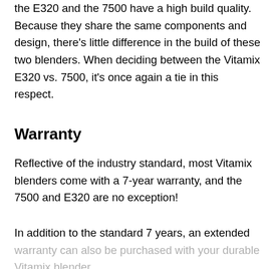the E320 and the 7500 have a high build quality. Because they share the same components and design, there's little difference in the build of these two blenders. When deciding between the Vitamix E320 vs. 7500, it's once again a tie in this respect.
Warranty
Reflective of the industry standard, most Vitamix blenders come with a 7-year warranty, and the 7500 and E320 are no exception!
In addition to the standard 7 years, an extended warranty can also be purchased with your durable Vitamix blender.